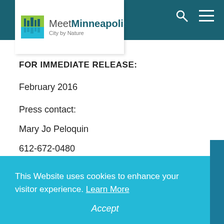Meet Minneapolis City by Nature
FOR IMMEDIATE RELEASE:
February 2016
Press contact:
Mary Jo Peloquin
612-672-0480
maryjo@isballet.org
This Website uses cookies to enhance your visitor experience. Learn More
Accept